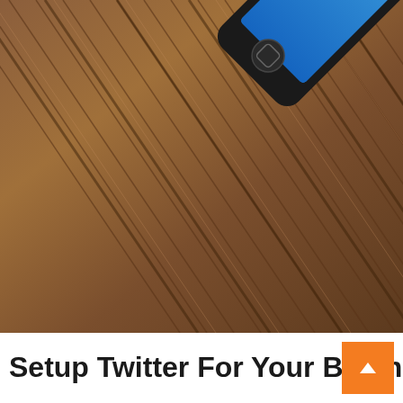[Figure (photo): A black smartphone lying on a wooden surface showing the Twitter app login screen with 'Sign up' and 'Log in' buttons visible on a blue background, photographed at an angle.]
Setup Twitter For Your Busine